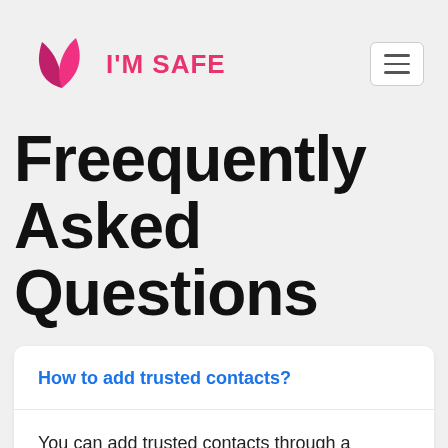[Figure (logo): I'M SAFE app logo with pink leaf/petal shape and pink bold text 'I'M SAFE']
Freequently Asked Questions
How to add trusted contacts?
You can add trusted contacts through a separate option on the app. First, you find the contact and